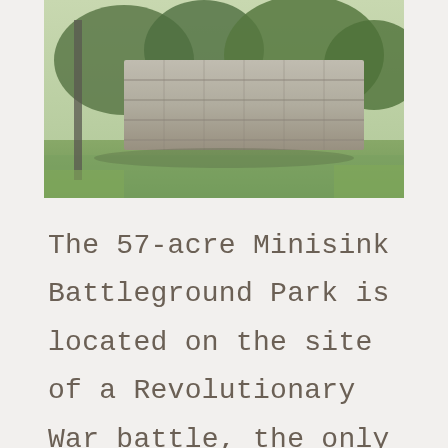[Figure (photo): Outdoor photograph of a stone wall or structure in a grassy area with trees in the background, at Minisink Battleground Park.]
The 57-acre Minisink Battleground Park is located on the site of a Revolutionary War battle, the only one fought in the Upper Delaware Region. Look for the Woodland Trail, Battleground Trail, and the Old Quarry Trail. Picnic areas